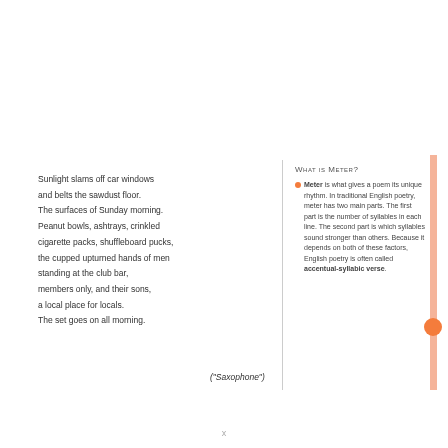Sunlight slams off car windows

and belts the sawdust floor.

The surfaces of Sunday morning.

Peanut bowls, ashtrays, crinkled

cigarette packs, shuffleboard pucks,

the cupped upturned hands of men

standing at the club bar,

members only, and their sons,

a local place for locals.

The set goes on all morning.
("Saxophone")
What is Meter?
Meter is what gives a poem its unique rhythm. In traditional English poetry, meter has two main parts. The first part is the number of syllables in each line. The second part is which syllables sound stronger than others. Because it depends on both of these factors, English poetry is often called accentual-syllabic verse.
x